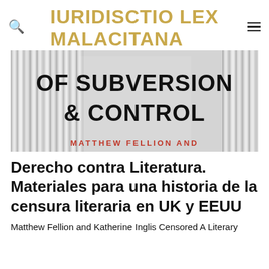IURIDISCTIO LEX MALACITANA
[Figure (photo): Book cover showing text 'OF SUBVERSION & CONTROL' in bold black letters on a background of vertical paper strips/shredded paper, with red text at bottom reading 'MATTHEW FELLION AND' (partially visible)]
Derecho contra Literatura. Materiales para una historia de la censura literaria en UK y EEUU
Matthew Fellion and Katherine Inglis Censored A Literary